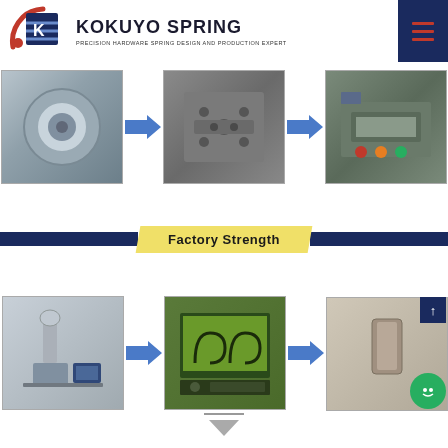[Figure (logo): Kokuyo Spring company logo with stylized KS emblem in red, blue, and silver colors]
KOKUYO SPRING
PRECISION HARDWARE SPRING DESIGN AND PRODUCTION EXPERT
[Figure (infographic): Three manufacturing process photos in a row connected by blue arrows: metal coil stock, precision mold/die plate, and production machine]
[Figure (infographic): Factory Strength banner with blue sides and yellow center]
Factory Strength
[Figure (infographic): Three quality control process photos in a row connected by blue arrows: measurement/vision system equipment, spring profile screen display, and finished spring product with chat/scroll UI overlays]
[Figure (other): Blue downward-pointing arrow at bottom center]